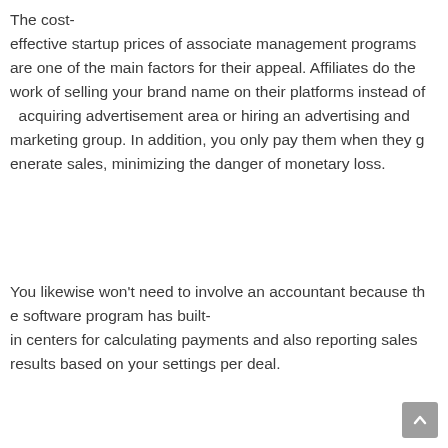The cost-effective startup prices of associate management programs are one of the main factors for their appeal. Affiliates do the work of selling your brand name on their platforms instead of acquiring advertisement area or hiring an advertising and marketing group. In addition, you only pay them when they generate sales, minimizing the danger of monetary loss.
You likewise won't need to involve an accountant because the software program has built-in centers for calculating payments and also reporting sales results based on your settings per deal.